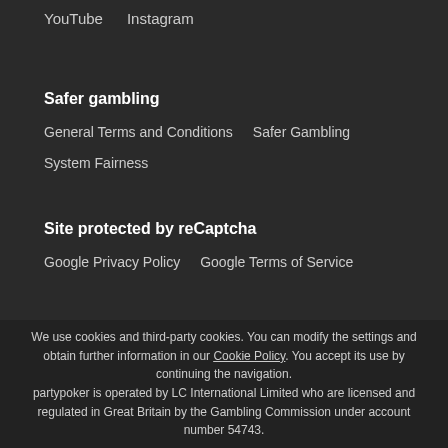YouTube    Instagram
Safer gambling
General Terms and Conditions    Safer Gambling
System Fairness
Site protected by reCaptcha
Google Privacy Policy    Google Terms of Service
We use cookies and third-party cookies. You can modify the settings and obtain further information in our Cookie Policy. You accept its use by continuing the navigation. partypoker is operated by LC International Limited who are licensed and regulated in Great Britain by the Gambling Commission under account number 54743.